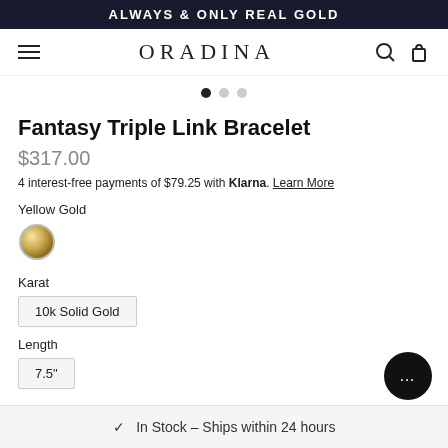ALWAYS & ONLY REAL GOLD
ORADINA
[Figure (other): Navigation dots row with 3 dots, first dot active (filled black), second and third dots inactive (grey)]
Fantasy Triple Link Bracelet
$317.00
4 interest-free payments of $79.25 with Klarna. Learn More
Yellow Gold
[Figure (other): Yellow gold swatch circle with radial gradient]
Karat
10k Solid Gold
Length
7.5"
✓  In Stock – Ships within 24 hours